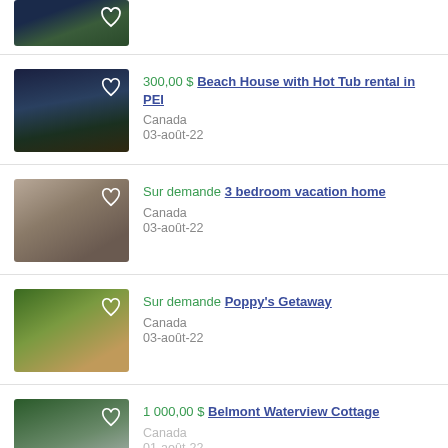[Figure (photo): Partial thumbnail of a property listing at the top of the page, cut off]
300,00 $ Beach House with Hot Tub rental in PEI — Canada, 03-août-22
Sur demande 3 bedroom vacation home — Canada, 03-août-22
Sur demande Poppy's Getaway — Canada, 03-août-22
1 000,00 $ Belmont Waterview Cottage — Canada, 01-août-22